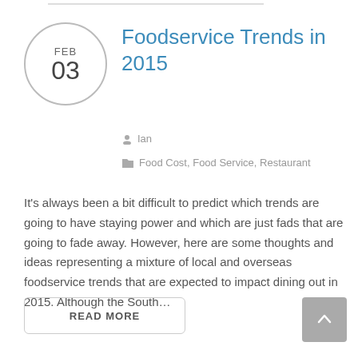[Figure (other): Circular date badge showing FEB 03]
Foodservice Trends in 2015
Ian
Food Cost, Food Service, Restaurant
It's always been a bit difficult to predict which trends are going to have staying power and which are just fads that are going to fade away. However, here are some thoughts and ideas representing a mixture of local and overseas foodservice trends that are expected to impact dining out in 2015. Although the South…
READ MORE